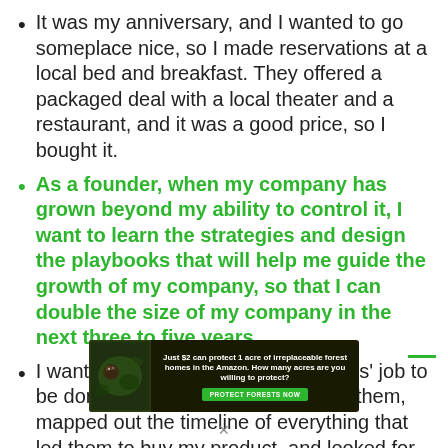It was my anniversary, and I wanted to go someplace nice, so I made reservations at a local bed and breakfast. They offered a packaged deal with a local theater and a restaurant, and it was a good price, so I bought it.
As a founder, when my company has grown beyond my ability to control it, I want to learn the strategies and design the playbooks that will help me guide the growth of my company, so that I can double the size of my company in the next three to five years.
I wanted to understand my customers' job to be done, so I interviewed several of them, mapped out the timeline of everything that led them to buy my product, and looked for patterns.
[Figure (infographic): Advertisement banner: 'Just $2 can protect 1 acre of irreplaceable forest homes in the Amazon. How many acres are you willing to protect?' with a green 'PROTECT FORESTS NOW' button and a photo of an animal in the forest.]